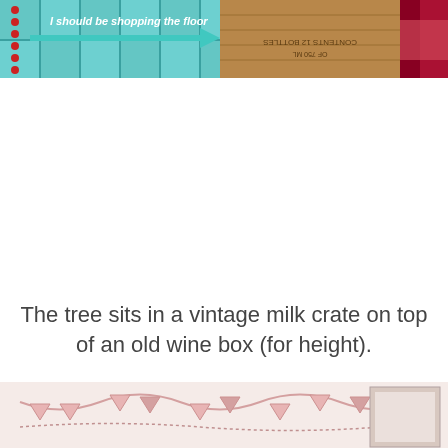[Figure (photo): Top portion of a decorative holiday scene showing a wooden wine box with text 'CONTENTS 12 BOTTLES' and teal/blue buffalo check fabric with an arrow sign and colorful ornaments]
The tree sits in a vintage milk crate on top of an old wine box (for height).
[Figure (photo): Bottom portion of a holiday vignette showing banners/garland and framed artwork on a light background]